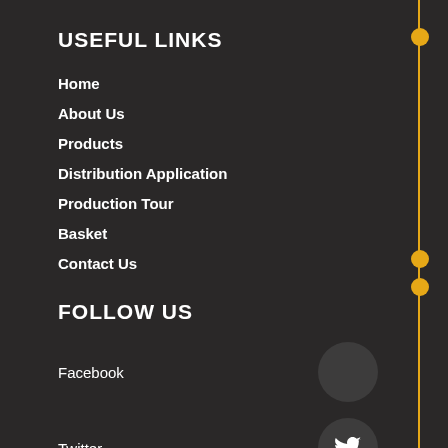USEFUL LINKS
Home
About Us
Products
Distribution Application
Production Tour
Basket
Contact Us
FOLLOW US
Facebook
Twitter
Youtube
LinkedIn